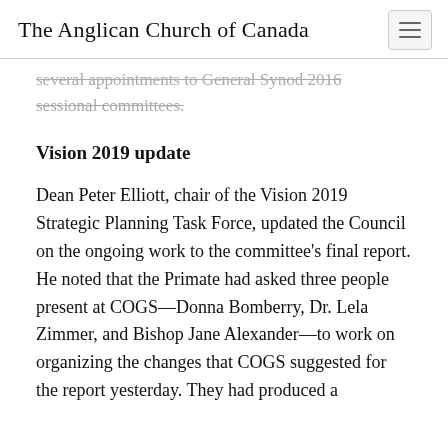The Anglican Church of Canada
several appointments to General Synod 2016 sessional committees.
Vision 2019 update
Dean Peter Elliott, chair of the Vision 2019 Strategic Planning Task Force, updated the Council on the ongoing work to the committee's final report. He noted that the Primate had asked three people present at COGS—Donna Bomberry, Dr. Lela Zimmer, and Bishop Jane Alexander—to work on organizing the changes that COGS suggested for the report yesterday. They had produced a